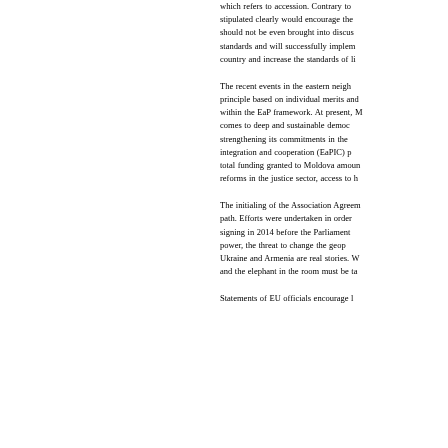which refers to accession. Contrary to what stipulated clearly would encourage the should not be even brought into discussion standards and will successfully implement country and increase the standards of li...
The recent events in the eastern neigh principle based on individual merits and within the EaP framework. At present, M comes to deep and sustainable democ strengthening its commitments in the integration and cooperation (EaPIC) p total funding granted to Moldova amoun reforms in the justice sector, access to h...
The initialing of the Association Agreem path. Efforts were undertaken in order signing in 2014 before the Parliament power, the threat to change the geop Ukraine and Armenia are real stories. W and the elephant in the room must be ta...
Statements of EU officials encourage l...